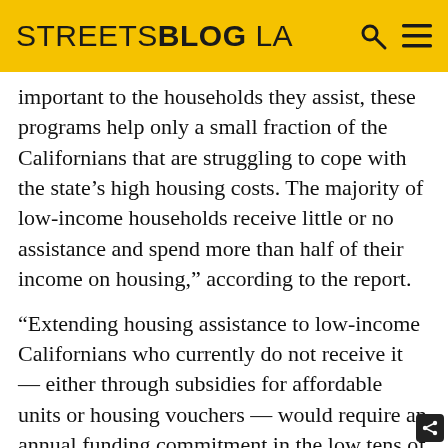STREETSBLOG LA
important to the households they assist, these programs help only a small fraction of the Californians that are struggling to cope with the state’s high housing costs. The majority of low-income households receive little or no assistance and spend more than half of their income on housing,” according to the report.
“Extending housing assistance to low-income Californians who currently do not receive it — either through subsidies for affordable units or housing vouchers — would require an annual funding commitment in the low tens of billions of dollars. This is roughly the magnitude of the state’s largest General Fund expenditure outside of education